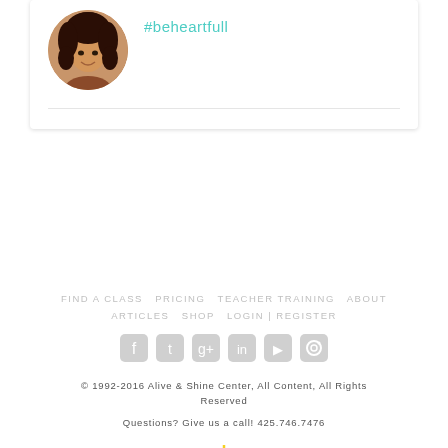[Figure (photo): Circular avatar photo of a woman with curly hair]
#beheartfull
FIND A CLASS   PRICING   TEACHER TRAINING   ABOUT   ARTICLES   SHOP   LOGIN | REGISTER
[Figure (illustration): Social media icons: Facebook, Twitter, Google+, LinkedIn, YouTube, Instagram]
© 1992-2016 Alive & Shine Center, All Content, All Rights Reserved
Questions? Give us a call! 425.746.7476
[Figure (logo): Alive & Shine Center logo: heart with meditating figure and sun rays]